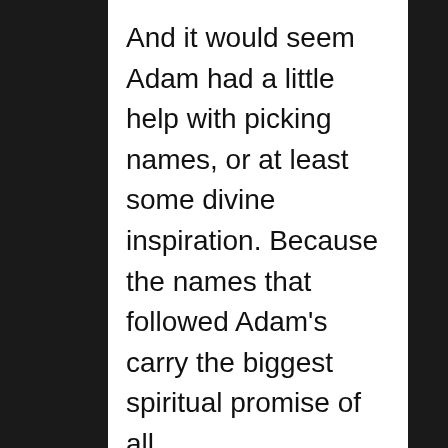And it would seem Adam had a little help with picking names, or at least some divine inspiration. Because the names that followed Adam's carry the biggest spiritual promise of all.
Genesis 5 gives the genealogy of the first family, beginning with